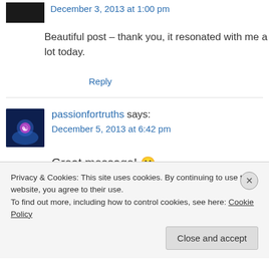December 3, 2013 at 1:00 pm
Beautiful post – thank you, it resonated with me a lot today.
Reply
passionfortruths says:
December 5, 2013 at 6:42 pm
Great message! 🙂
Privacy & Cookies: This site uses cookies. By continuing to use this website, you agree to their use.
To find out more, including how to control cookies, see here: Cookie Policy